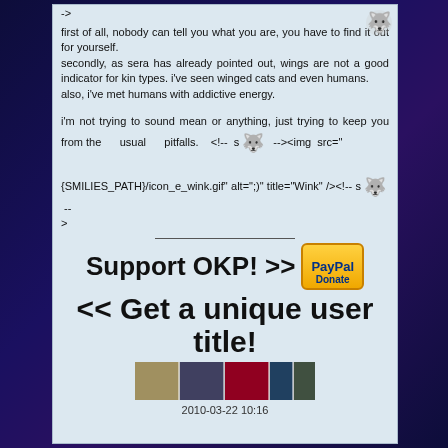->
first of all, nobody can tell you what you are, you have to find it out for yourself.
secondly, as sera has already pointed out, wings are not a good indicator for kin types. i've seen winged cats and even humans.
also, i've met humans with addictive energy.
i'm not trying to sound mean or anything, just trying to keep you from the usual pitfalls. <!-- s [wolf icon] --><img src="{SMILIES_PATH}/icon_e_wink.gif" alt=";)" title="Wink" /><!-- s [wolf icon] -->
Support OKP! >> [PayPal Donate]
<< Get a unique user title!
[Figure (illustration): Banner with user avatar images]
2010-03-22 10:16